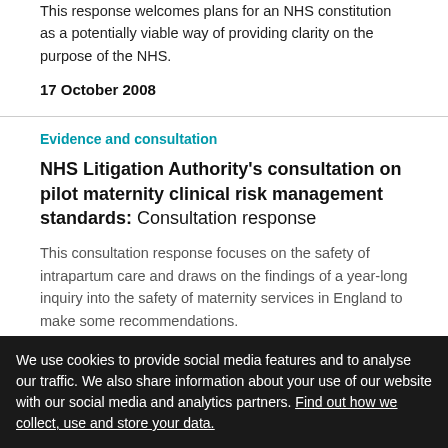This response welcomes plans for an NHS constitution as a potentially viable way of providing clarity on the purpose of the NHS.
17 October 2008
Evidence and consultation
NHS Litigation Authority's consultation on pilot maternity clinical risk management standards: Consultation response
This consultation response focuses on the safety of intrapartum care and draws on the findings of a year-long inquiry into the safety of maternity services in England to make some recommendations.
7 October 2008
We use cookies to provide social media features and to analyse our traffic. We also share information about your use of our website with our social media and analytics partners. Find out how we collect, use and store your data.